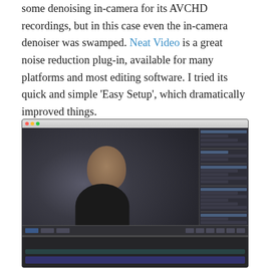some denoising in-camera for its AVCHD recordings, but in this case even the in-camera denoiser was swamped. Neat Video is a great noise reduction plug-in, available for many platforms and most editing software. I tried its quick and simple 'Easy Setup', which dramatically improved things.
[Figure (screenshot): Screenshot of a video editing application (appears to be Final Cut Pro or similar) on macOS, showing a man with glasses and dark hair against a gray background in the main preview window, with a settings/effects panel on the right side and a timeline at the bottom. A 'businessVideoPRO' watermark is visible in the lower right of the preview.]